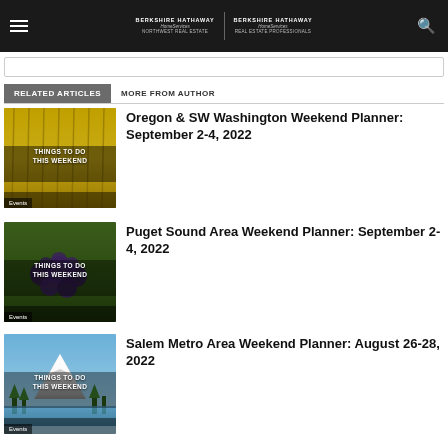Berkshire Hathaway HomeServices Northwest Real Estate | Berkshire Hathaway HomeServices Real Estate Professionals
RELATED ARTICLES    MORE FROM AUTHOR
[Figure (photo): Things To Do This Weekend thumbnail image with yellow flowers background]
Oregon & SW Washington Weekend Planner: September 2-4, 2022
[Figure (photo): Things To Do This Weekend thumbnail image with dark grapes background]
Puget Sound Area Weekend Planner: September 2-4, 2022
[Figure (photo): Things To Do This Weekend thumbnail image with mountain and lake background]
Salem Metro Area Weekend Planner: August 26-28, 2022